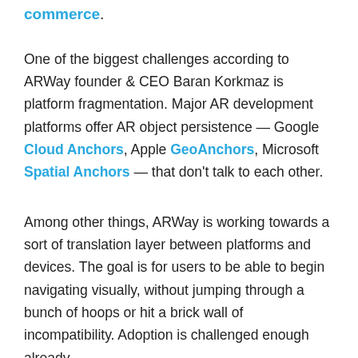commerce.
One of the biggest challenges according to ARWay founder & CEO Baran Korkmaz is platform fragmentation. Major AR development platforms offer AR object persistence — Google Cloud Anchors, Apple GeoAnchors, Microsoft Spatial Anchors — that don't talk to each other.
Among other things, ARWay is working towards a sort of translation layer between platforms and devices. The goal is for users to be able to begin navigating visually, without jumping through a bunch of hoops or hit a brick wall of incompatibility. Adoption is challenged enough already.